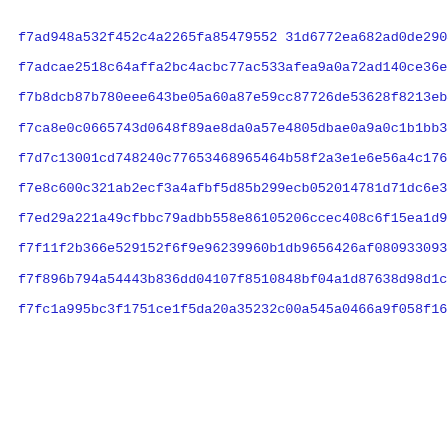f7ad948a532f452c4a2265fa85479552 31d6772ea682ad0de290421e73afc
f7adcae2518c64affa2bc4acbc77ac533afea9a0a72ad140ce36eb28459f9
f7b8dcb87b780eee643be05a60a87e59cc87726de53628f8213eb48cc1b09
f7ca8e0c0665743d0648f89ae8da0a57e4805dbae0a9a0c1b1bb396e5a18b
f7d7c13001cd748240c776534689 65464b58f2a3e1e6e56a4c176e8a58f35
f7e8c600c321ab2ecf3a4afbf5d85b299ecb052014781d71dc6e3b8f2b02d
f7ed29a221a49cfbbc79adbb558e86105206ccec408c6f15ea1d9643cbcd3
f7f11f2b366e529152f6f9e96239960b1db9656426af080933093346ca56f
f7f896b794a54443b836dd04107f8510848bf04a1d87638d98d1ce69776af
f7fc1a995bc3f1751ce1f5da20a35232c00a545a0466a9f058f16fa74607e